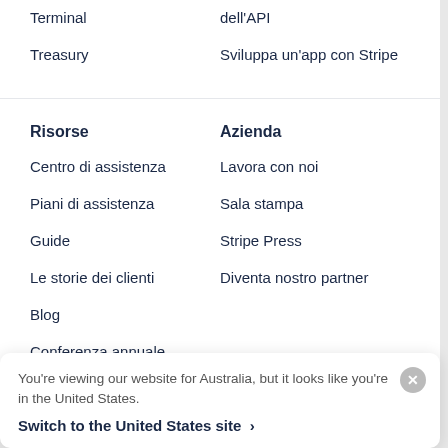Terminal
Treasury
dell'API
Sviluppa un'app con Stripe
Risorse
Azienda
Centro di assistenza
Lavora con noi
Piani di assistenza
Sala stampa
Guide
Stripe Press
Le storie dei clienti
Diventa nostro partner
Blog
Conferenza annuale
Privacy e termini
You're viewing our website for Australia, but it looks like you're in the United States.
Switch to the United States site >